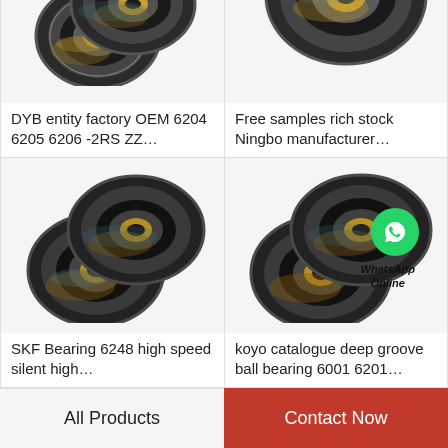[Figure (photo): Two ball bearings - DYB entity factory OEM product]
DYB entity factory OEM 6204 6205 6206 -2RS ZZ…
[Figure (photo): Ball bearing with partial view - Free samples rich stock Ningbo manufacturer]
Free samples rich stock Ningbo manufacturer…
[Figure (photo): Two SKF ball bearings 6248 high speed silent]
SKF Bearing 6248 high speed silent high…
[Figure (photo): Koyo catalogue deep groove ball bearings with WhatsApp Online overlay]
koyo catalogue deep groove ball bearing 6001 6201…
All Products
Contact Now